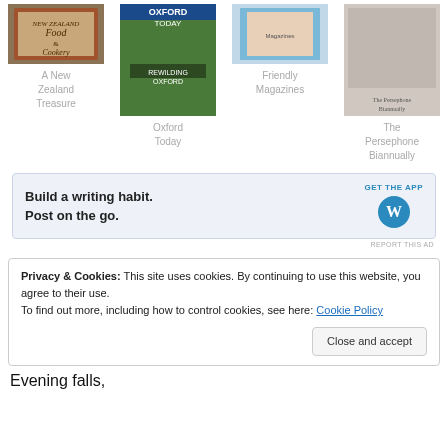[Figure (photo): Four book/magazine covers in a grid row: A New Zealand Food & Cookery book, Oxford Today magazine (Rewilding Oxford), a colorful magazine (Friendly Magazines), and The Persephone Biannually book]
A New Zealand Treasure
Oxford Today
Friendly Magazines
The Persephone Biannually
[Figure (screenshot): Advertisement banner: Build a writing habit. Post on the go. GET THE APP with WordPress logo]
REPORT THIS AD
Privacy & Cookies: This site uses cookies. By continuing to use this website, you agree to their use.
To find out more, including how to control cookies, see here: Cookie Policy
Close and accept
Evening falls,